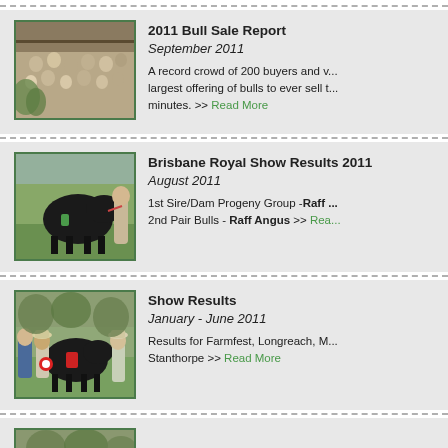[Figure (photo): Crowd of buyers at a bull sale event, seated in stands under a covered arena]
2011 Bull Sale Report
September 2011
A record crowd of 200 buyers and v... largest offering of bulls to ever sell t... minutes. >> Read More
[Figure (photo): Black Angus bull being shown at Brisbane Royal Show 2011]
Brisbane Royal Show Results 2011
August 2011
1st Sire/Dam Progeny Group - Raff ... 2nd Pair Bulls - Raff Angus >> Rea...
[Figure (photo): Group of people with award-winning black bull at a show, red ribbon decoration]
Show Results
January - June 2011
Results for Farmfest, Longreach, M... Stanthorpe >> Read More
[Figure (photo): Partial view of another show or event photo at the bottom of the page]